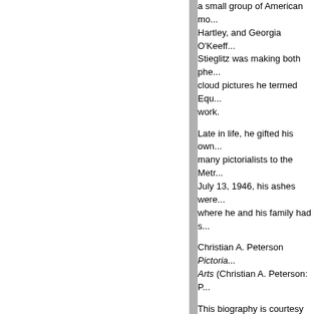a small group of American mo... Hartley, and Georgia O'Keeff... Stieglitz was making both phe... cloud pictures he termed Equ... work.
Late in life, he gifted his own... many pictorialists to the Metr... July 13, 1946, his ashes were... where he and his family had s...
Christian A. Peterson Pictoria... Arts (Christian A. Peterson: P...
This biography is courtesy an... included here with permission...
Date last updated: 1 June 20...
SHARED BIOGRAPHICAL...
We welcome institutions an... biographies for the benefit o... above is a part of this trial.
If you find any errors please... soon as possible.